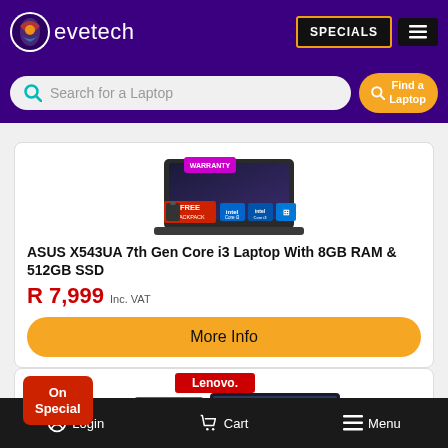evetech — SPECIALS, hamburger menu
Search for a Laptop — Find a Laptop
[Figure (photo): ASUS X543UA laptop product image with WARRANTY badge, FREE BACKPACK offer, Intel Core i3 and Windows logos]
ASUS X543UA 7th Gen Core i3 Laptop With 8GB RAM & 512GB SSD
R 7,999 Inc. VAT
More Info
[Figure (photo): Lenovo laptop product image with On Special badge, 3.70 GHz Ryzen 5, 8GB RAM, 512GB, 1920 X 1080 specs overlay]
Login   Cart   Menu